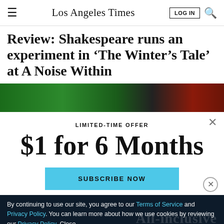Los Angeles Times — LOG IN
Review: Shakespeare runs an experiment in ‘The Winter’s Tale’ at A Noise Within
[Figure (photo): Dark green and red theatrical photo strip, partial view of a stage scene]
LIMITED-TIME OFFER
$1 for 6 Months
SUBSCRIBE NOW
By continuing to use our site, you agree to our Terms of Service and Privacy Policy. You can learn more about how we use cookies by reviewing our Privacy Policy. Close